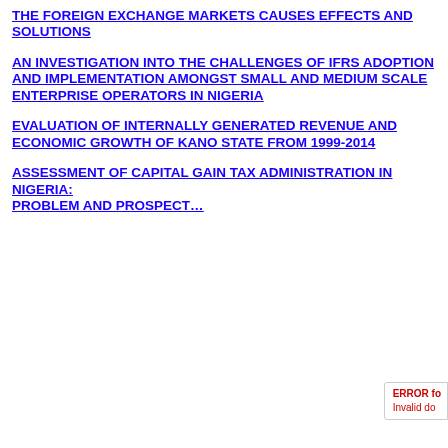THE FOREIGN EXCHANGE MARKETS CAUSES EFFECTS AND SOLUTIONS
AN INVESTIGATION INTO THE CHALLENGES OF IFRS ADOPTION AND IMPLEMENTATION AMONGST SMALL AND MEDIUM SCALE ENTERPRISE OPERATORS IN NIGERIA
EVALUATION OF INTERNALLY GENERATED REVENUE AND ECONOMIC GROWTH OF KANO STATE FROM 1999-2014
ASSESSMENT OF CAPITAL GAIN TAX ADMINISTRATION IN NIGERIA: PROBLEM AND PROSPECT…